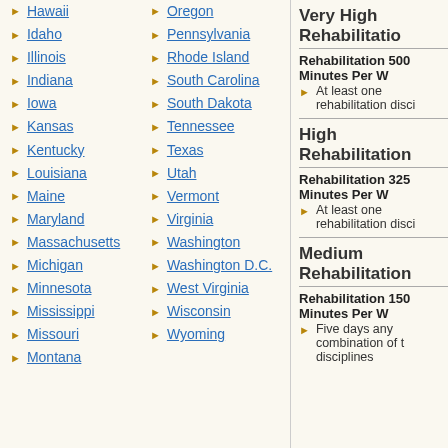Hawaii
Oregon
Idaho
Pennsylvania
Illinois
Rhode Island
Indiana
South Carolina
Iowa
South Dakota
Kansas
Tennessee
Kentucky
Texas
Louisiana
Utah
Maine
Vermont
Maryland
Virginia
Massachusetts
Washington
Michigan
Washington D.C.
Minnesota
West Virginia
Mississippi
Wisconsin
Missouri
Wyoming
Montana
Very High Rehabilitation
Rehabilitation 500 Minutes Per W
At least one rehabilitation disci
High Rehabilitation
Rehabilitation 325 Minutes Per W
At least one rehabilitation disci
Medium Rehabilitation
Rehabilitation 150 Minutes Per W
Five days any combination of the disciplines